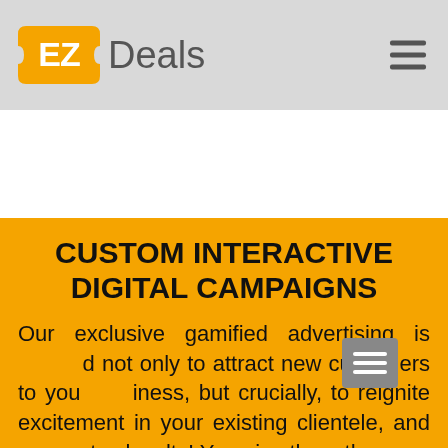EZ Deals
CUSTOM INTERACTIVE DIGITAL CAMPAIGNS
Our exclusive gamified advertising is designed not only to attract new customers to your business, but crucially, to reignite excitement in your existing clientele, and so creates loyalty! You give them the